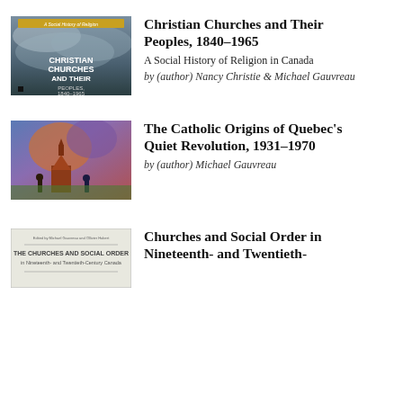[Figure (illustration): Book cover: Christian Churches and Their Peoples, 1840-1965, dark cloudy background with text overlay]
Christian Churches and Their Peoples, 1840–1965
A Social History of Religion in Canada
by (author) Nancy Christie & Michael Gauvreau
[Figure (illustration): Book cover: The Catholic Origins of Quebec's Quiet Revolution, 1931-1970, colorful painting of church scene]
The Catholic Origins of Quebec's Quiet Revolution, 1931–1970
by (author) Michael Gauvreau
[Figure (illustration): Book cover: Churches and Social Order in Nineteenth- and Twentieth-Century Canada, pale/white cover with text]
Churches and Social Order in Nineteenth- and Twentieth-